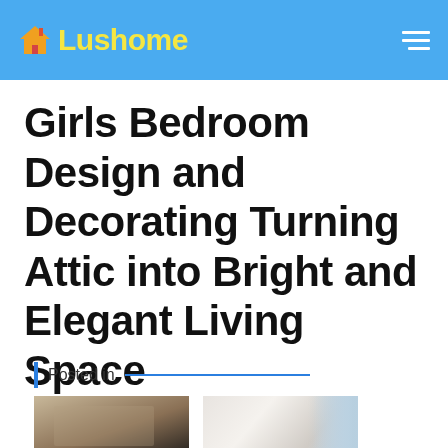Lushome
Girls Bedroom Design and Decorating Turning Attic into Bright and Elegant Living Space
Posted in
[Figure (photo): Two thumbnail images: first showing a dark modern kitchen scene, second showing a bright white room interior]
[Figure (photo): Bright white girls bedroom with furniture and decorations]